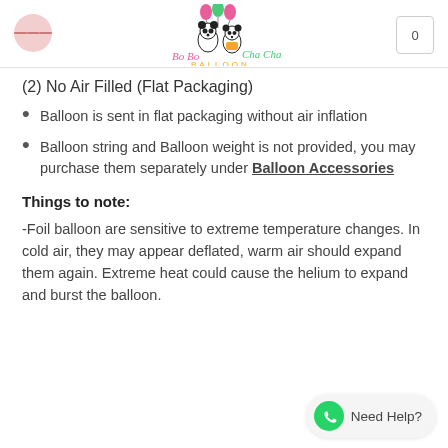Bo Bo Cha Cha Balloon — navigation header with logo and cart icon
(2) No Air Filled (Flat Packaging)
Balloon is sent in flat packaging without air inflation
Balloon string and Balloon weight is not provided, you may purchase them separately under Balloon Accessories
Things to note:
-Foil balloon are sensitive to extreme temperature changes. In cold air, they may appear deflated, warm air should expand them again. Extreme heat could cause the helium to expand and burst the balloon.